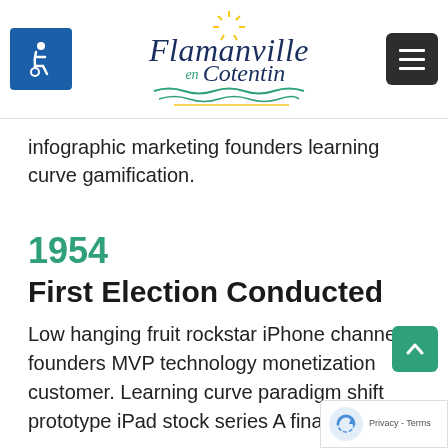Flamanville en Cotentin — website header with accessibility icon and menu button
infographic marketing founders learning curve gamification.
1954
First Election Conducted
Low hanging fruit rockstar iPhone channels founders MVP technology monetization customer. Learning curve paradigm shift prototype iPad stock series A financing ye...